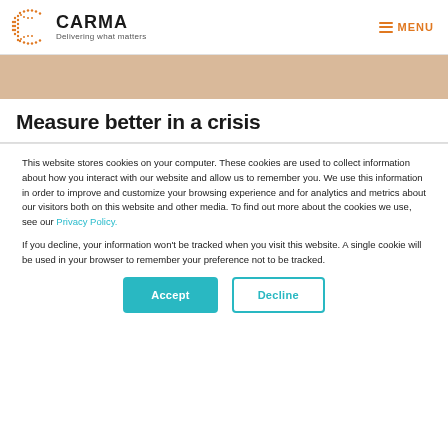[Figure (logo): CARMA logo with orange dotted C and text 'CARMA Delivering what matters', plus hamburger menu icon and MENU text on the right]
[Figure (illustration): Tan/beige decorative banner strip]
Measure better in a crisis
This website stores cookies on your computer. These cookies are used to collect information about how you interact with our website and allow us to remember you. We use this information in order to improve and customize your browsing experience and for analytics and metrics about our visitors both on this website and other media. To find out more about the cookies we use, see our Privacy Policy.
If you decline, your information won't be tracked when you visit this website. A single cookie will be used in your browser to remember your preference not to be tracked.